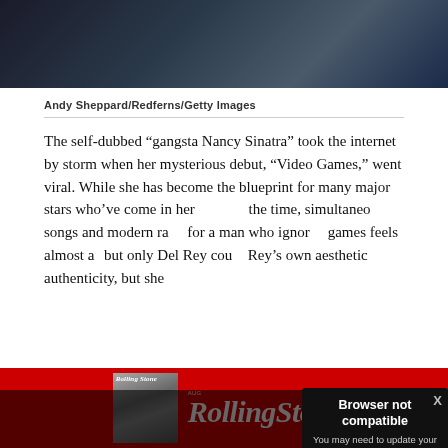[Figure (photo): Concert photo of musician playing instrument on stage, partial view showing top portion, dark blue stage lighting background]
Andy Sheppard/Redferns/Getty Images
The self-dubbed “gangsta Nancy Sinatra” took the internet by storm when her mysterious debut, “Video Games,” went viral. While she has become the blueprint for many major stars who’ve come in her [wake, she was polarizing at] the time, simultaneo[usly derided for her] songs and modern ra[pp...] for a man who ignor[ed her...] games feels almost a[...] but only Del Rey cou[ld...] Rey’s own aesthetic [...] authenticity, but she [...]
[Figure (screenshot): Browser not compatible modal popup with dark background. Title: 'Browser not compatible'. Subtitle: 'You may need to update your browser'. Link: 'Report ID: 1gc5p367g05c2b062pi']
[Figure (photo): Rolling Stone magazine advertisement banner with red background, magazine cover image on left, Rolling Stone logo in white italic text on right]